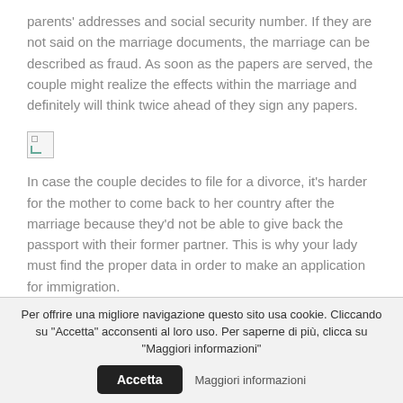parents' addresses and social security number. If they are not said on the marriage documents, the marriage can be described as fraud. As soon as the papers are served, the couple might realize the effects within the marriage and definitely will think twice ahead of they sign any papers.
[Figure (other): Broken image placeholder icon]
In case the couple decides to file for a divorce, it's harder for the mother to come back to her country after the marriage because they'd not be able to give back the passport with their former partner. This is why your lady must find the proper data in order to make an application for immigration.
21 Nov 20   By : Temp User   Comments : 0
Per offrire una migliore navigazione questo sito usa cookie. Cliccando su "Accetta" acconsenti al loro uso. Per saperne di più, clicca su "Maggiori informazioni"